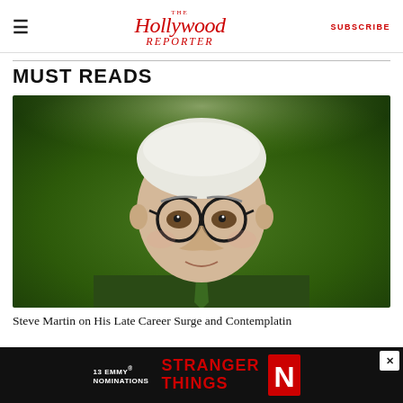The Hollywood Reporter — SUBSCRIBE
MUST READS
[Figure (photo): Portrait photo of Steve Martin, an older white-haired man wearing dark-rimmed glasses and a green suit with a green tie, posed against a green gradient background.]
Steve Martin on His Late Career Surge and Contemplatin
[Figure (screenshot): Advertisement banner for Stranger Things with text '13 EMMY NOMINATIONS STRANGER THINGS' and Netflix logo on a black background.]